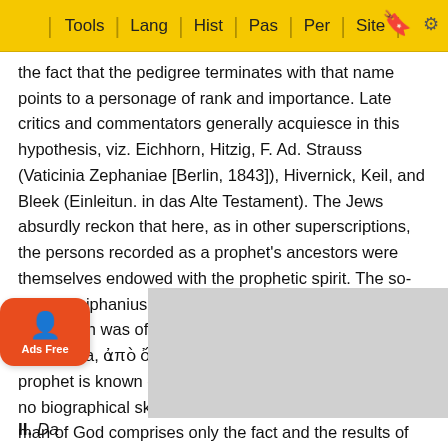Tools | Lang | Hist | Pas | Per | Site
the fact that the pedigree terminates with that name points to a personage of rank and importance. Late critics and commentators generally acquiesce in this hypothesis, viz. Eichhorn, Hitzig, F. Ad. Strauss (Vaticinia Zephaniae [Berlin, 1843]), Hivernick, Keil, and Bleek (Einleitun. in das Alte Testament). The Jews absurdly reckon that here, as in other superscriptions, the persons recorded as a prophet's ancestors were themselves endowed with the prophetic spirit. The so- called Epiphanius (De Vitis Prophet. ch. 19) asserts that Zephaniah was of the tribe of Simeon, of the hill Sarabatha, ἀπὸ ὄρους Σαραβαθά . The existence of the prophet is known only from his oracles, and these have no biographical sketches; so that our knowledge of this man of God comprises only the fact and the results of his inspiration. ...ay be safely inferred, however, that he labored with ...iah in the pious work of re-establishing the worship of Jehov...
II. Da...